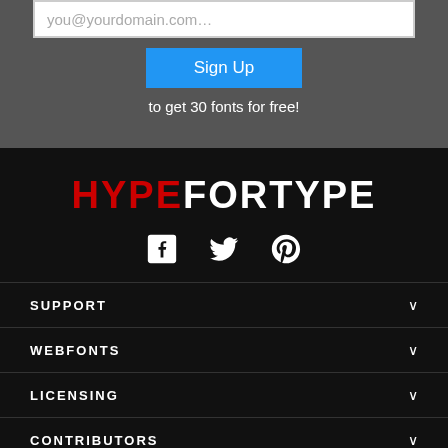you@yourdomain.com…
Sign Up
to get 30 fonts for free!
[Figure (logo): HYPEFORTYPE logo with HYPE in red and FORTYPE in white, bold, uppercase]
[Figure (infographic): Social media icons: Facebook, Twitter, Pinterest in white]
SUPPORT
WEBFONTS
LICENSING
CONTRIBUTORS